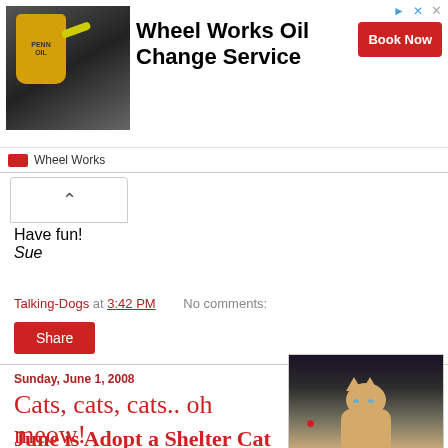[Figure (photo): Wheel Works Oil Change Service advertisement banner with product image, text, and Book Now button]
Have fun!
Sue
Talking-Dogs at 3:42 PM   No comments:
Share
Sunday, June 1, 2008
Cats, cats, cats.. oh meow!
[Figure (photo): Orange/cream colored cat indoors]
June is Adopt a Shelter Cat Month